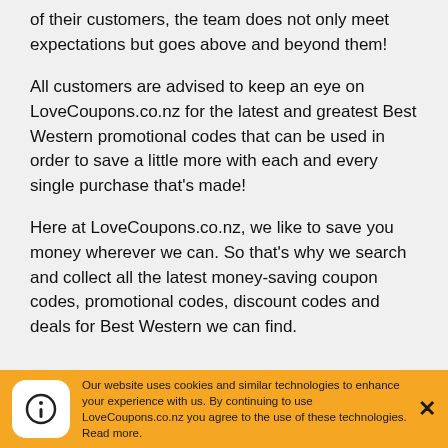of their customers, the team does not only meet expectations but goes above and beyond them!
All customers are advised to keep an eye on LoveCoupons.co.nz for the latest and greatest Best Western promotional codes that can be used in order to save a little more with each and every single purchase that's made!
Here at LoveCoupons.co.nz, we like to save you money wherever we can. So that's why we search and collect all the latest money-saving coupon codes, promotional codes, discount codes and deals for Best Western we can find.
Our website uses cookies and similar technologies to enhance your experience with us. By continuing to use LoveCoupons.co.nz you agree to the use of these technologies. Read more.